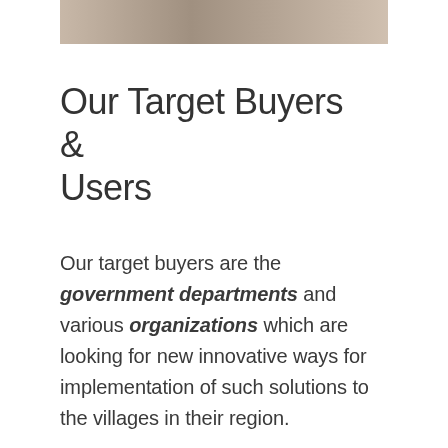[Figure (photo): Photo strip showing people in outdoor setting, partially visible at top of page]
Our Target Buyers & Users
Our target buyers are the government departments and various organizations which are looking for new innovative ways for implementation of such solutions to the villages in their region.